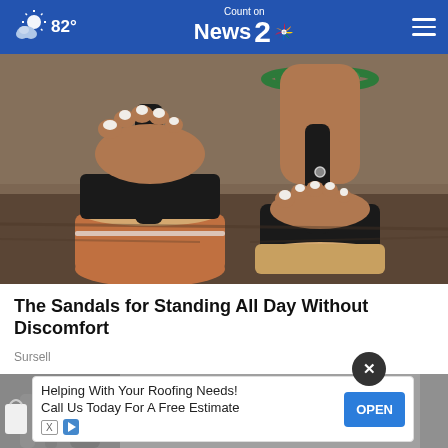82° Count on News 2
[Figure (photo): Close-up of feet wearing black thong sandals with orthopedic soles on a rocky surface, one foot with a green beaded anklet]
The Sandals for Standing All Day Without Discomfort
Sursell
[Figure (photo): Partial view of people walking, background of advertisement overlay]
Helping With Your Roofing Needs! Call Us Today For A Free Estimate  OPEN